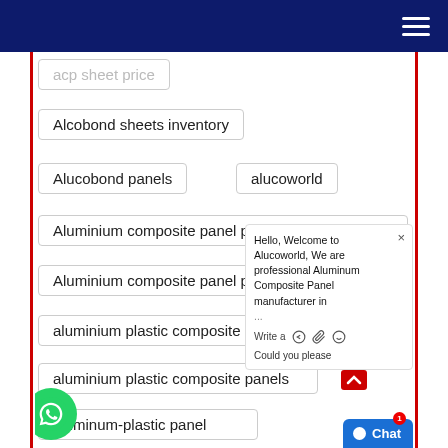Navigation header with hamburger menu
acp sheet price
Alcobond sheets inventory
Alucobond panels
alucoworld
Aluminium composite panel price in Slovakia
Aluminium composite panel price in Tonga
aluminium plastic composite panel
aluminium plastic composite panels
aluminum-plastic panel
aluminum compoaite panel manufactu...
aluminum composite
aluminum composite material
Hello, Welcome to Alucoworld, We are professional Aluminum Composite Panel manufacturer in ...
Write a ... Could you please...